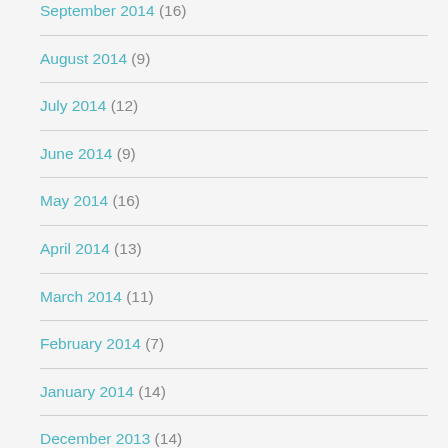September 2014 (16)
August 2014 (9)
July 2014 (12)
June 2014 (9)
May 2014 (16)
April 2014 (13)
March 2014 (11)
February 2014 (7)
January 2014 (14)
December 2013 (14)
November 2013 (15)